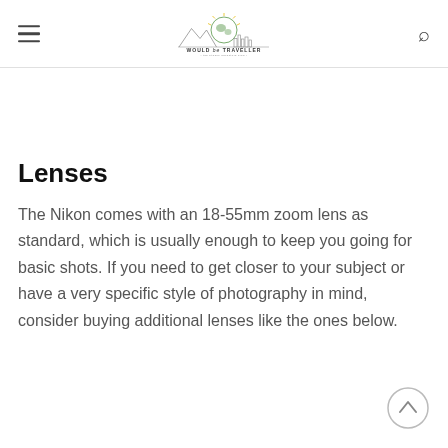Would Be Traveller — The fitness adventure blog
Lenses
The Nikon comes with an 18-55mm zoom lens as standard, which is usually enough to keep you going for basic shots. If you need to get closer to your subject or have a very specific style of photography in mind, consider buying additional lenses like the ones below.